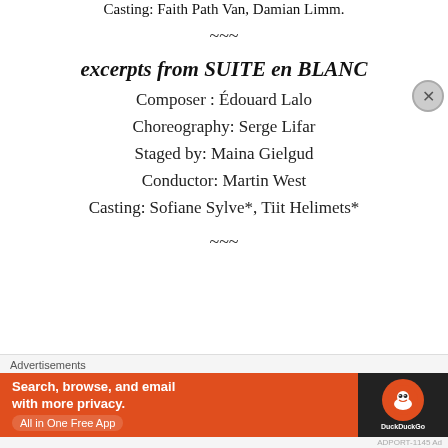Casting: Faith Path Van, Damian Limm.
~~~
excerpts from SUITE en BLANC
Composer : Édouard Lalo
Choreography: Serge Lifar
Staged by: Maina Gielgud
Conductor: Martin West
Casting: Sofiane Sylve*, Tiit Helimets*
~~~
Advertisements
[Figure (other): DuckDuckGo advertisement banner: orange background with text 'Search, browse, and email with more privacy. All in One Free App' and DuckDuckGo logo on dark background.]